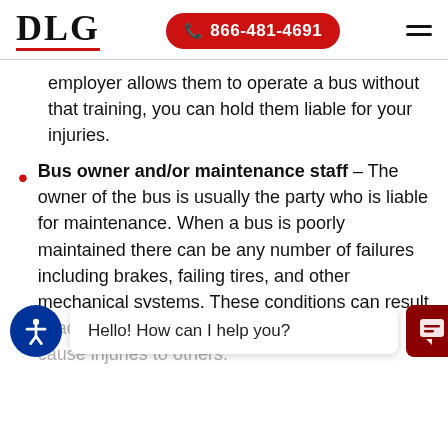DLG | 866-481-4691
employer allows them to operate a bus without that training, you can hold them liable for your injuries.
Bus owner and/or maintenance staff – The owner of the bus is usually the party who is liable for maintenance. When a bus is poorly maintained there can be any number of failures including brakes, failing tires, and other mechanical systems. These conditions can result in a … and cause injuries to others.